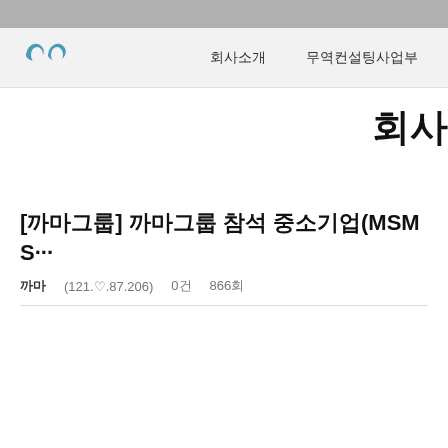회사소개   무역컨설팅사업부
[까마그룹] 까마그룹 참석 중소기업(MSM S…
까마 (121.♡.87.206)   0건   866회